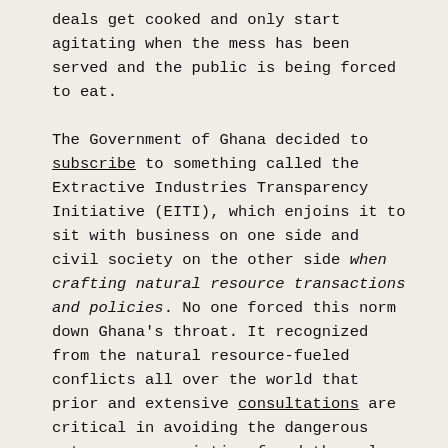deals get cooked and only start agitating when the mess has been served and the public is being forced to eat.

The Government of Ghana decided to subscribe to something called the Extractive Industries Transparency Initiative (EITI), which enjoins it to sit with business on one side and civil society on the other side when crafting natural resource transactions and policies. No one forced this norm down Ghana's throat. It recognized from the natural resource-fueled conflicts all over the world that prior and extensive consultations are critical in avoiding the dangerous waters some societies found themselves when they ignored the